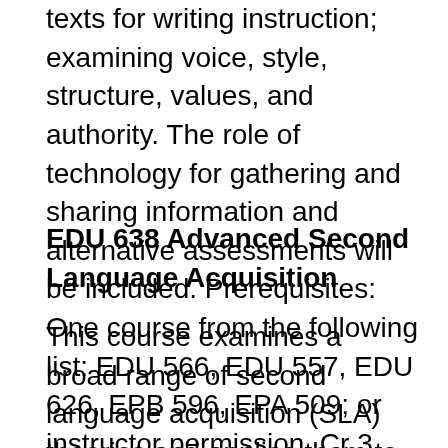texts for writing instruction; examining voice, style, structure, values, and authority. The role of technology for gathering and sharing information and alternative assessments will be included. Prerequisites: One course from the following list: EDU 566, EDU 557, EDU 626, EPB 596, EPA 509; or instructor permission. Cr 3.
EDU 638 Advanced Second Language Acquisition
This course examines a broad range of second language acquisition (SLA) theories and applies them to English as a Second Language (ESL) pedagogy. This advanced course focuses on the exploration of second language acquisition as a complex phenomenon and aims to generate in the students a personally meaningful, context-relevant understanding of the phenomenon. Students will